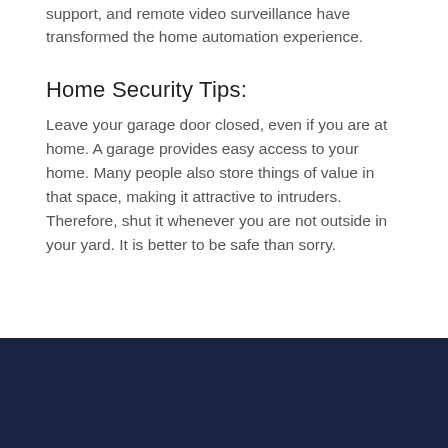support, and remote video surveillance have transformed the home automation experience.
Home Security Tips:
Leave your garage door closed, even if you are at home. A garage provides easy access to your home. Many people also store things of value in that space, making it attractive to intruders. Therefore, shut it whenever you are not outside in your yard. It is better to be safe than sorry.